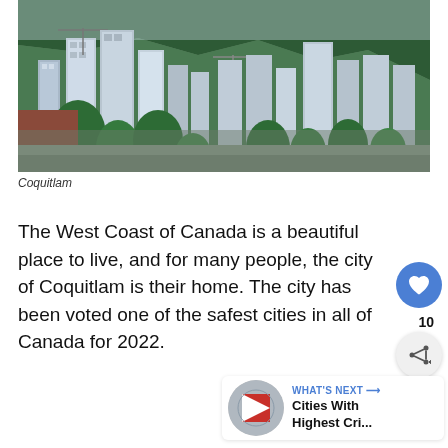[Figure (photo): Aerial/elevated view of Coquitlam city skyline with tall residential towers, green trees in the foreground, and forested mountains in the background]
Coquitlam
The West Coast of Canada is a beautiful place to live, and for many people, the city of Coquitlam is their home. The city has been voted one of the safest cities in all of Canada for 2022.
[Figure (illustration): WHAT'S NEXT arrow label with thumbnail and text: Cities With Highest Cri...]